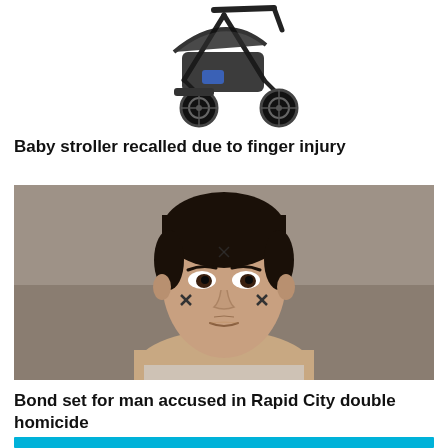[Figure (photo): Baby stroller / pram shown from the side on white background]
Baby stroller recalled due to finger injury
[Figure (photo): Mugshot-style photo of a young man with dark hair and facial tattoos against a gray background]
Bond set for man accused in Rapid City double homicide